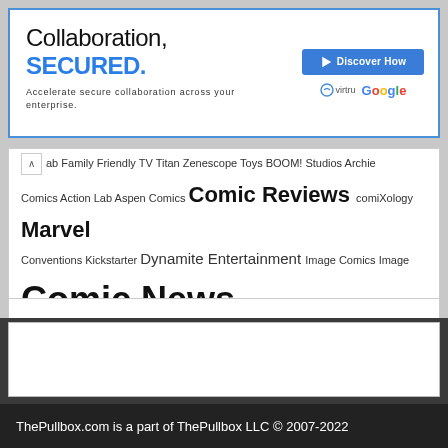[Figure (screenshot): Advertisement banner: 'Collaboration, SECURED. Accelerate secure collaboration across your enterprise.' with Discover How button, Virtru and Google logos]
ab Family Friendly TV Titan Zenescope Toys BOOM! Studios Archie Comics Action Lab Aspen Comics Comic Reviews comiXology Marvel Conventions Kickstarter Dynamite Entertainment Image Comics Image Comic News Boom Studios Independent Valiant Titan Comics Dynamite Zenescope Pullbox Previews Kickstarter Kindt Book News Games Dynamite Entertainment Movies Mature Content Marvel Dark Horse IDW Archie Comics DC Comics Valiant
ThePullbox.com is a part of ThePullbox LLC © 2007-2022